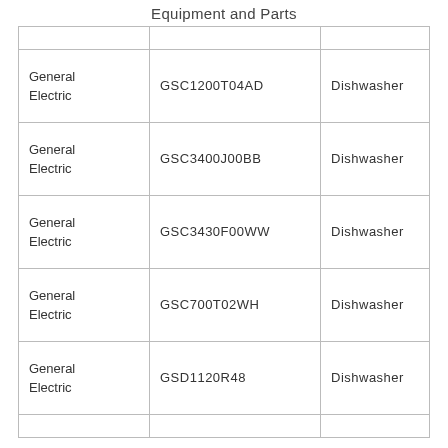Equipment and Parts
|  |  |  |
| --- | --- | --- |
| General Electric | GSC1200T04AD | Dishwasher |
| General Electric | GSC3400J00BB | Dishwasher |
| General Electric | GSC3430F00WW | Dishwasher |
| General Electric | GSC700T02WH | Dishwasher |
| General Electric | GSD1120R48 | Dishwasher |